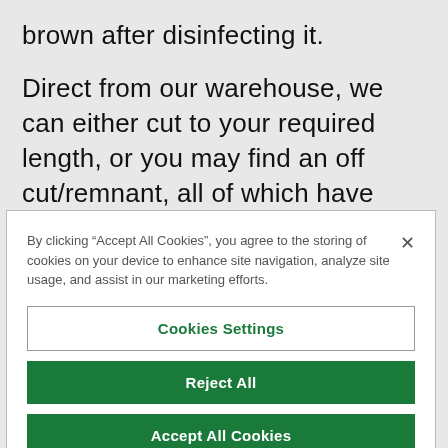brown after disinfecting it.
Direct from our warehouse, we can either cut to your required length, or you may find an off cut/remnant, all of which have been heavily discounted,
By clicking “Accept All Cookies”, you agree to the storing of cookies on your device to enhance site navigation, analyze site usage, and assist in our marketing efforts.
Cookies Settings
Reject All
Accept All Cookies